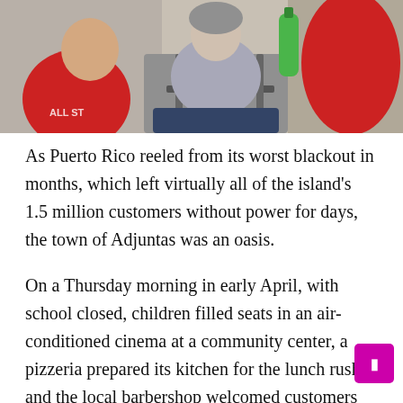[Figure (photo): A person in a red sleeveless shirt assists an elderly person seated in a wheelchair. A young boy in a red jersey with 'ALL ST' visible looks on. An oxygen tank is visible in the background.]
As Puerto Rico reeled from its worst blackout in months, which left virtually all of the island's 1.5 million customers without power for days, the town of Adjuntas was an oasis.
On a Thursday morning in early April, with school closed, children filled seats in an air-conditioned cinema at a community center, a pizzeria prepared its kitchen for the lunch rush and the local barbershop welcomed customers looking a quick cut.